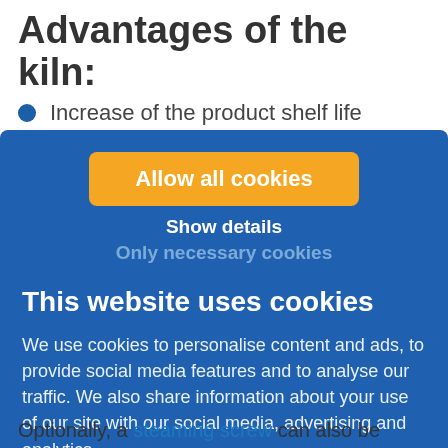Advantages of the kiln:
Increase of the product shelf life
[Figure (screenshot): Cookie consent overlay on a blue background with an orange 'Allow all cookies' button, 'Show details' link, 'Only necessary cookies' link, a 'This website uses cookies' heading, and body text about cookie usage.]
Optionally, a steaming screw can also be